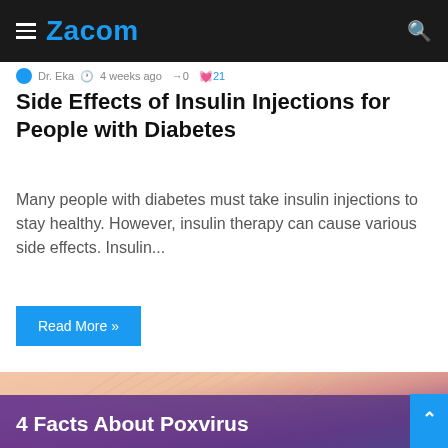Zacom
Dr. Eka · 4 weeks ago · 0 · 21
Side Effects of Insulin Injections for People with Diabetes
Many people with diabetes must take insulin injections to stay healthy. However, insulin therapy can cause various side effects. Insulin...
Read More »
[Figure (photo): Close-up of colorful mushroom gills/cap with pink, peach, purple and blue tones, serving as header for article about 4 Facts About Poxvirus]
4 Facts About Poxvirus